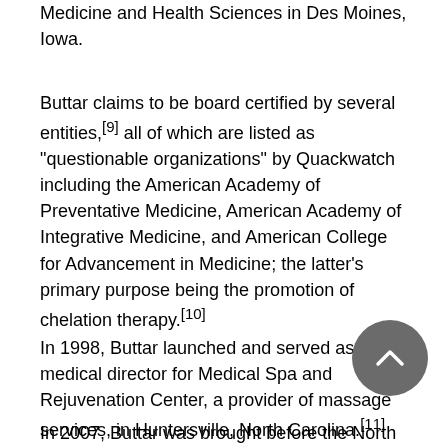Medicine and Health Sciences in Des Moines, Iowa.
Buttar claims to be board certified by several entities,[9] all of which are listed as "questionable organizations" by Quackwatch including the American Academy of Preventative Medicine, American Academy of Integrative Medicine, and American College for Advancement in Medicine; the latter's primary purpose being the promotion of chelation therapy.[10]
In 1998, Buttar launched and served as medical director for Medical Spa and Rejuvenation Center, a provider of massage services, in Huntersville, North Carolina.[11]
In 2007, Buttar was brought before the North